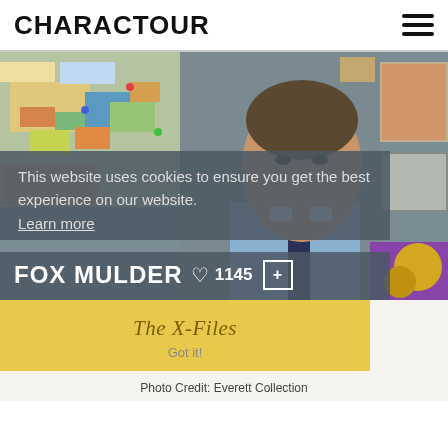CHARACTOUR
[Figure (photo): Fox Mulder character from The X-Files, actor in blue shirt and dark tie, standing in front of a wall covered with photos, maps and pinned documents. Cookie consent overlay visible in lower portion.]
This website uses cookies to ensure you get the best experience on our website.
Learn more
FOX MULDER
1145
The X-Files
Got it!
Photo Credit: Everett Collection